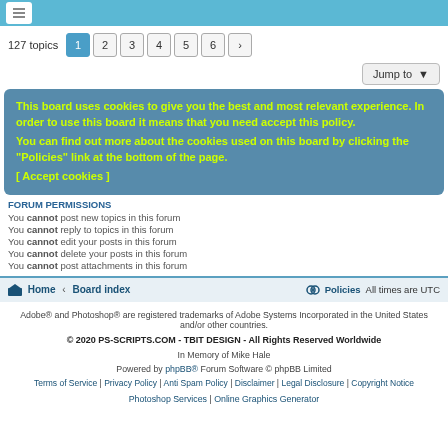127 topics  1 2 3 4 5 6 >
Jump to
This board uses cookies to give you the best and most relevant experience. In order to use this board it means that you need accept this policy. You can find out more about the cookies used on this board by clicking the "Policies" link at the bottom of the page. [ Accept cookies ]
FORUM PERMISSIONS
You cannot post new topics in this forum
You cannot reply to topics in this forum
You cannot edit your posts in this forum
You cannot delete your posts in this forum
You cannot post attachments in this forum
Home · Board index   Policies   All times are UTC
Adobe® and Photoshop® are registered trademarks of Adobe Systems Incorporated in the United States and/or other countries.
© 2020 PS-SCRIPTS.COM - TBIT DESIGN - All Rights Reserved Worldwide
In Memory of Mike Hale
Powered by phpBB® Forum Software © phpBB Limited
Terms of Service | Privacy Policy | Anti Spam Policy | Disclaimer | Legal Disclosure | Copyright Notice
Photoshop Services | Online Graphics Generator